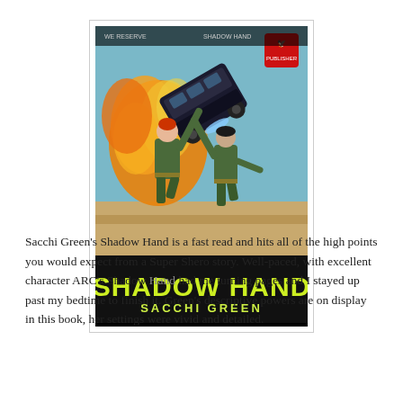[Figure (illustration): Book cover of 'Shadow Hand' by Sacchi Green. Shows two figures in green military-style outfits, one with red hair, holding up a large dark vehicle (armored truck/bus) that is on fire with orange flames against a desert background. Title 'SHADOW HAND' in large yellow-green comic-style letters at the bottom, with 'SACCHI GREEN' below it. Small publisher logo in top right corner.]
Sacchi Green's Shadow Hand is a fast read and hits all of the high points you would expect from a Super Shero story. Well-paced, with excellent character ARC's Shadow Hand had me turning pages and I stayed up past my bedtime to finish it. Green's descriptive powers are on display in this book, her settings were vivid and detailed.